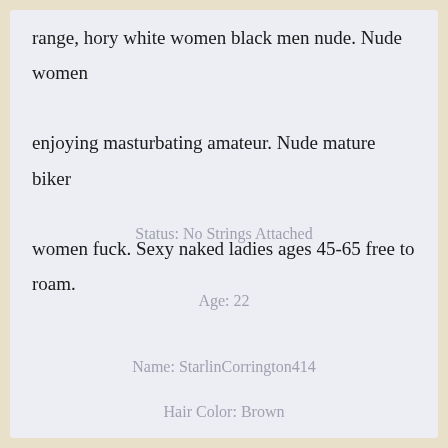range, hory white women black men nude. Nude women enjoying masturbating amateur. Nude mature biker women fuck. Sexy naked ladies ages 45-65 free to roam.
Status: No Strings Attached
Age: 22
Name: StarlinCorrington414
Hair Color: Brown
City: Dublin, IN 47335